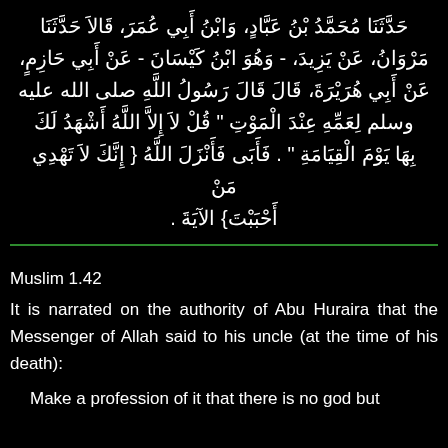حَدَّثَنَا مُحَمَّدُ بْنُ عَبَّادٍ، وَابْنُ أَبِي عُمَرَ، قَالاَ حَدَّثَنَا مَرْوَانُ، عَنْ يَزِيدَ، - وَهُوَ ابْنُ كَيْسَانَ - عَنْ أَبِي حَازِمٍ، عَنْ أَبِي هُرَيْرَةَ، قَالَ قَالَ رَسُولُ اللَّهِ صلى الله عليه وسلم لِعَمِّهِ عِنْدَ الْمَوْتِ " قُلْ لاَ إِلاَّ اللَّهُ أَشْهَدُ لَكَ بِهَا يَوْمَ الْقِيَامَةِ " . فَأَبَى فَأَنْزَلَ اللَّهُ { إِنَّكَ لاَ تَهْدِي مَنْ أَحْبَبْتَ} الآيَةَ .
Muslim 1.42
It is narrated on the authority of Abu Huraira that the Messenger of Allah said to his uncle (at the time of his death):
Make a profession of it that there is no god but